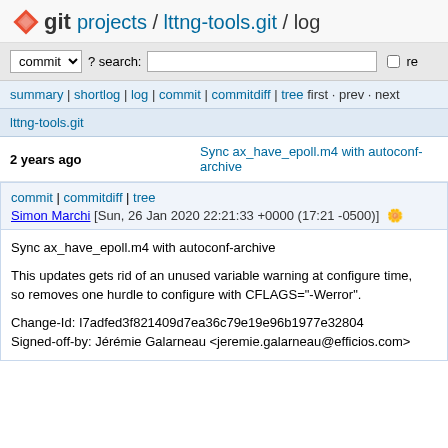git projects / lttng-tools.git / log
[Figure (screenshot): Search bar with commit dropdown, search input, and re checkbox]
summary | shortlog | log | commit | commitdiff | tree first · prev · next
lttng-tools.git
2 years ago   Sync ax_have_epoll.m4 with autoconf-archive
commit | commitdiff | tree
Simon Marchi [Sun, 26 Jan 2020 22:21:33 +0000 (17:21 -0500)]
Sync ax_have_epoll.m4 with autoconf-archive

This updates gets rid of an unused variable warning at configure time, so removes one hurdle to configure with CFLAGS="-Werror".

Change-Id: I7adfed3f821409d7ea36c79e19e96b1977e32804
Signed-off-by: Jérémie Galarneau <jeremie.galarneau@efficios.com>